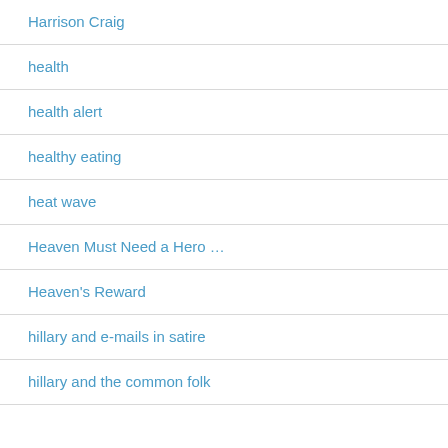Harrison Craig
health
health alert
healthy eating
heat wave
Heaven Must Need a Hero …
Heaven's Reward
hillary and e-mails in satire
hillary and the common folk